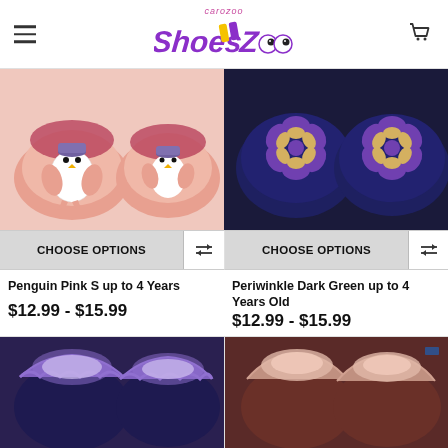[Figure (logo): carozoo ShoesZoo logo with colorful text and cartoon eyes]
CHOOSE OPTIONS
CHOOSE OPTIONS
Penguin Pink S up to 4 Years
$12.99 - $15.99
Periwinkle Dark Green up to 4 Years Old
$12.99 - $15.99
[Figure (photo): Pink baby shoes with penguin illustration]
[Figure (photo): Dark navy baby shoes with purple and yellow flower decoration]
[Figure (photo): Navy baby shoes with purple furry top lining, top view]
[Figure (photo): Brown/maroon baby shoes, top view]